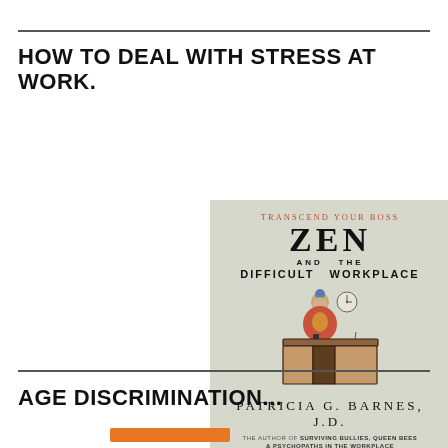HOW TO DEAL WITH STRESS AT WORK.
[Figure (illustration): Book cover for 'Zen and the Difficult Workplace' by Patricia G. Barnes, J.D. The cover has a sage green background and shows a Buddha figure sitting at a wooden desk with a clock on the wall behind. Text on cover: 'TRANSCEND YOUR BOSS', 'ZEN', 'AND THE', 'DIFFICULT WORKPLACE', 'PATRICIA G. BARNES, J.D.', 'THE AUTHOR OF SURVIVING BULLIES, QUEEN BEES & PSYCHOPATHS IN THE WORKPLACE']
AGE DISCRIMINATION...